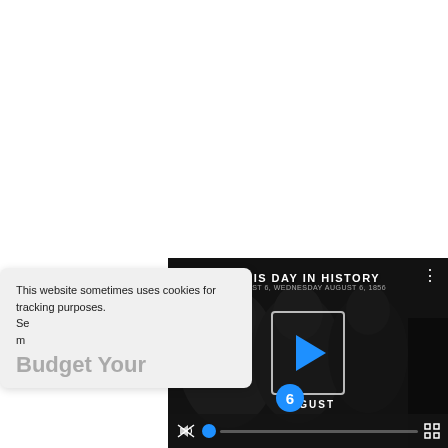[Figure (screenshot): Cookie consent popup overlay showing text 'This website sometimes uses cookies for tracking purposes. Se[e]... m[ore]...' and large grey text 'Budget Your' partially visible. Behind/beside it is a video player panel showing 'THIS DAY IN HISTORY' title, a play button in a box outline, the number 6 logo in blue circle, 'AUGUST' label, mute icon, progress bar with blue dot, and fullscreen icon. The video shows dark-toned group photo of people.]